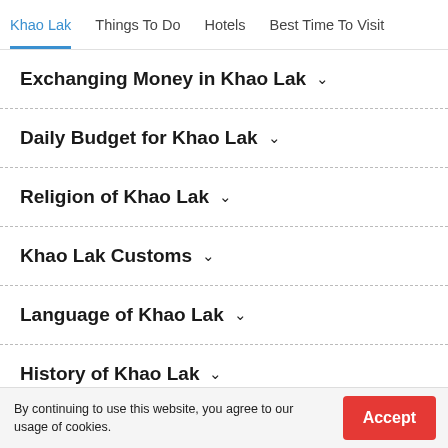Khao Lak | Things To Do | Hotels | Best Time To Visit
Exchanging Money in Khao Lak
Daily Budget for Khao Lak
Religion of Khao Lak
Khao Lak Customs
Language of Khao Lak
History of Khao Lak
Nightlife in Khao Lak
By continuing to use this website, you agree to our usage of cookies.